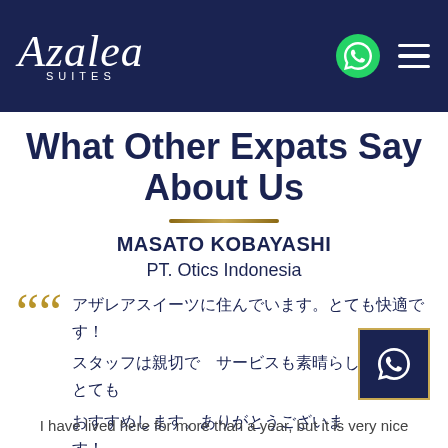Azalea Suites
What Other Expats Say About Us
MASATO KOBAYASHI
PT. Otics Indonesia
[Japanese text testimonial - rendered as encoded characters]
I have lived here for more than a year, but it is very nice